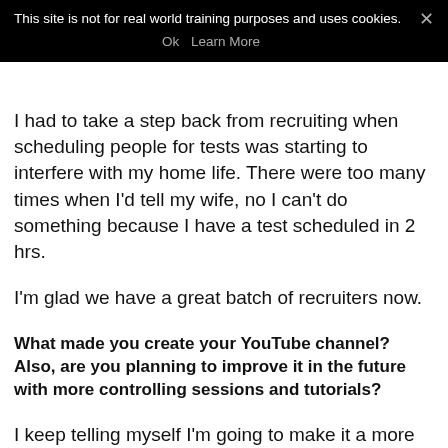This site is not for real world training purposes and uses cookies. Ok  Learn More
I had to take a step back from recruiting when scheduling people for tests was starting to interfere with my home life. There were too many times when I'd tell my wife, no I can't do something because I have a test scheduled in 2 hrs.
I'm glad we have a great batch of recruiters now.
What made you create your YouTube channel? Also, are you planning to improve it in the future with more controlling sessions and tutorials?
I keep telling myself I'm going to make it a more professional site, but I limit my IF to a few hours a day, and most of that time is spent controlling, helping out in tests or training, or doing QA flights